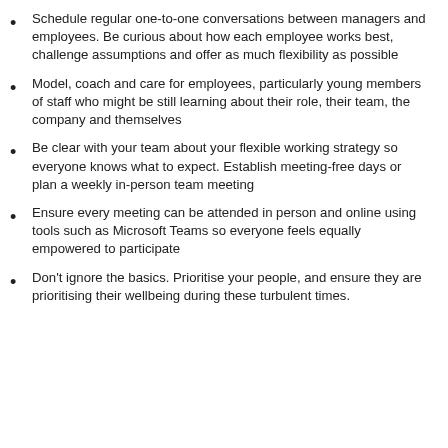Schedule regular one-to-one conversations between managers and employees. Be curious about how each employee works best, challenge assumptions and offer as much flexibility as possible
Model, coach and care for employees, particularly young members of staff who might be still learning about their role, their team, the company and themselves
Be clear with your team about your flexible working strategy so everyone knows what to expect. Establish meeting-free days or plan a weekly in-person team meeting
Ensure every meeting can be attended in person and online using tools such as Microsoft Teams so everyone feels equally empowered to participate
Don't ignore the basics. Prioritise your people, and ensure they are prioritising their wellbeing during these turbulent times.